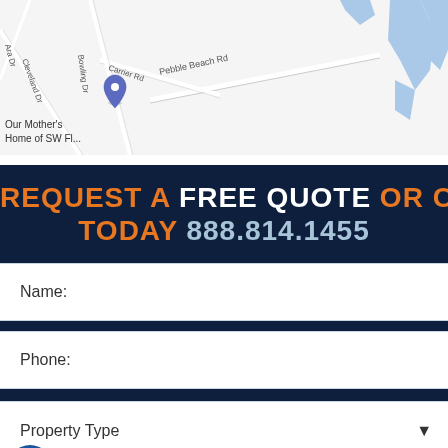[Figure (map): Google Maps view showing Pebble Beach Rd, Carrier Rd, Bowling Dr, Cleveland Dr, and surrounding streets with a location pin and blue water areas. Text 'Our Mother's Home of SW FL' partially visible.]
REQUEST A FREE QUOTE OR CALL TODAY 888.814.1455
Name:
Phone:
Property Type